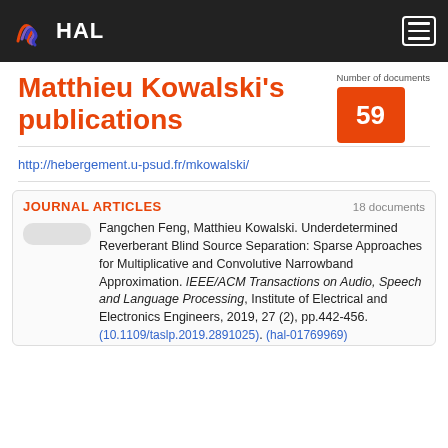HAL
Matthieu Kowalski's publications
Number of documents 59
http://hebergement.u-psud.fr/mkowalski/
JOURNAL ARTICLES 18 documents
Fangchen Feng, Matthieu Kowalski. Underdetermined Reverberant Blind Source Separation: Sparse Approaches for Multiplicative and Convolutive Narrowband Approximation. IEEE/ACM Transactions on Audio, Speech and Language Processing, Institute of Electrical and Electronics Engineers, 2019, 27 (2), pp.442-456. (10.1109/taslp.2019.2891025). (hal-01769969)